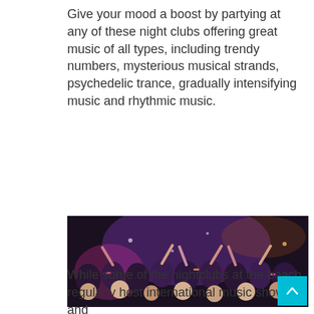Give your mood a boost by partying at any of these night clubs offering great music of all types, including trendy numbers, mysterious musical strands, psychedelic trance, gradually intensifying music and rhythmic music.
[Figure (photo): A large crowd of young people at a nightclub, hands raised, making rock signs, colorful lighting with purple and pink hues, people smiling and celebrating.]
While some of the nightclubs at the beach regularly host international music shows and